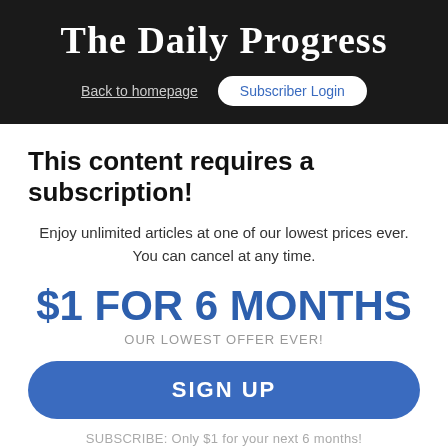The Daily Progress
Back to homepage
Subscriber Login
This content requires a subscription!
Enjoy unlimited articles at one of our lowest prices ever. You can cancel at any time.
$1 FOR 6 MONTHS
OUR LOWEST OFFER EVER!
SIGN UP
SUBSCRIBE: Only $1 for your next 6 months!
Enjoy these exclusive benefits: